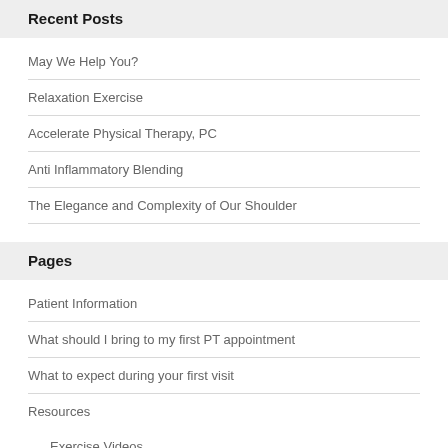Recent Posts
May We Help You?
Relaxation Exercise
Accelerate Physical Therapy, PC
Anti Inflammatory Blending
The Elegance and Complexity of Our Shoulder
Pages
Patient Information
What should I bring to my first PT appointment
What to expect during your first visit
Resources
Exercise Videos